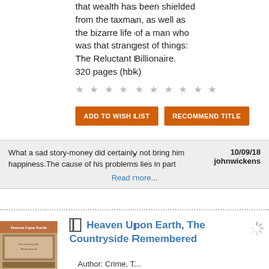that wealth has been shielded from the taxman, as well as the bizarre life of a man who was that strangest of things: The Reluctant Billionaire. 320 pages (hbk)
★ ★ ★ ★ ★ ★ ★ ★ ★ ★
ADD TO WISH LIST   RECOMMEND TITLE
What a sad story-money did certainly not bring him happiness.The cause of his problems lies in part
10/09/18 johnwickens
Read more...
[Figure (illustration): Book cover image for Heaven Upon Earth, The Countryside Remembered]
Heaven Upon Earth, The Countryside Remembered
Author: Crime, T...